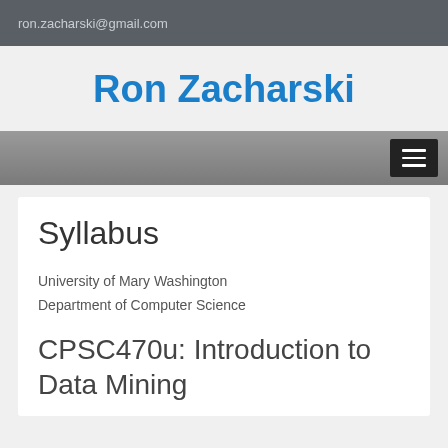ron.zacharski@gmail.com
Ron Zacharski
Syllabus
University of Mary Washington
Department of Computer Science
CPSC470u: Introduction to Data Mining